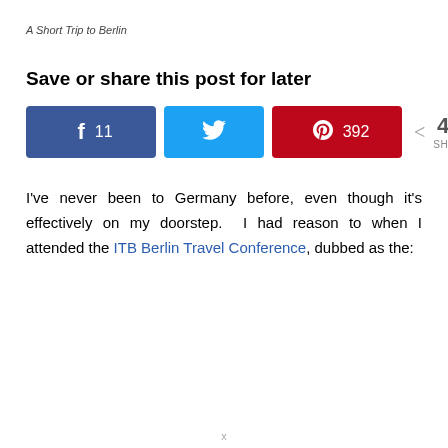A Short Trip to Berlin
Save or share this post for later
[Figure (infographic): Social sharing buttons: Facebook button with count 11, Twitter button, Pinterest button with count 392, and total 403 SHARES]
I've never been to Germany before, even though it's effectively on my doorstep. I had reason to when I attended the ITB Berlin Travel Conference, dubbed as the: